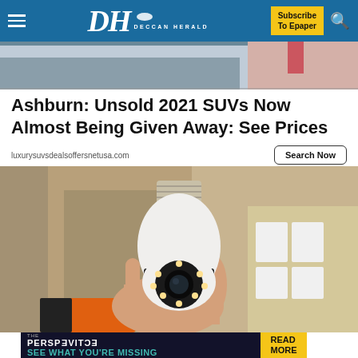DH DECCAN HERALD | Subscribe To Epaper
[Figure (photo): Top banner showing partial product/scene image strip]
Ashburn: Unsold 2021 SUVs Now Almost Being Given Away: See Prices
luxurysuvsdealsoffersnetusa.com
Search Now
[Figure (photo): A hand holding a white security camera shaped like a light bulb with a screw-base top, multiple LED lights visible around the lens, against a blurred warehouse/shelf background]
[Figure (infographic): Bottom advertisement banner: THE PERSPECTIVE - SEE WHAT YOU'RE MISSING | READ MORE button in yellow]